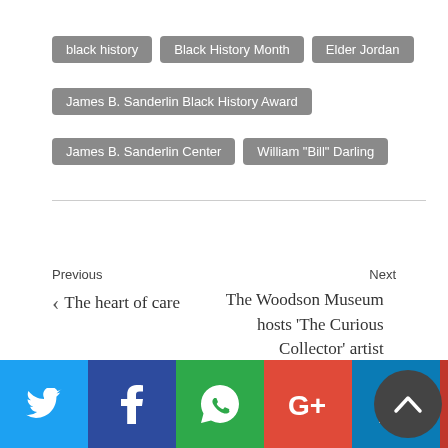black history
Black History Month
Elder Jordan
James B. Sanderlin Black History Award
James B. Sanderlin Center
William "Bill" Darling
Previous
< The heart of care
Next
The Woodson Museum hosts 'The Curious Collector' artist exploration series >
You may also like...